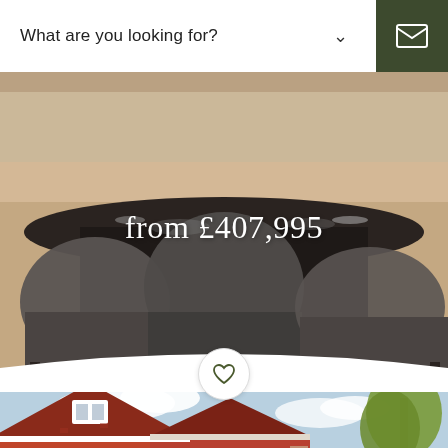What are you looking for?
[Figure (photo): Interior dining room photo showing dark wooden dining table with grey upholstered chairs, wooden floor background. Text overlay reads 'from £407,995'.]
from £407,995
[Figure (photo): Exterior photo of a red brick new-build house with peaked rooflines, white window frames, and a blue sky with clouds and trees in the background.]